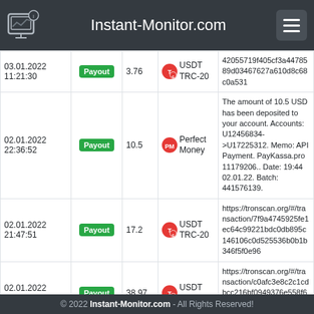Instant-Monitor.com
| Date | Type | Amount | Currency | Details |
| --- | --- | --- | --- | --- |
| 03.01.2022 11:21:30 | Payout | 3.76 | USDT TRC-20 | 42055719f405cf3a4478589d03467627a610d8c68c0a531 |
| 02.01.2022 22:36:52 | Payout | 10.5 | Perfect Money | The amount of 10.5 USD has been deposited to your account. Accounts: U12456834->U17225312. Memo: API Payment. PayKassa.pro 11179206.. Date: 19:44 02.01.22. Batch: 441576139. |
| 02.01.2022 21:47:51 | Payout | 17.2 | USDT TRC-20 | https://tronscan.org/#/transaction/7f9a4745925fe1ec64c99221bdc0db895c146106c0d525536b0b1b346f5f0e96 |
| 02.01.2022 21:47:42 | Payout | 38.97 | USDT TRC-20 | https://tronscan.org/#/transaction/c0afc3e8c2c1cdbcc216bf0949376e558f6a20d79e4c625a7235d7973b72 |
© 2022 Instant-Monitor.com - All Rights Reserved!